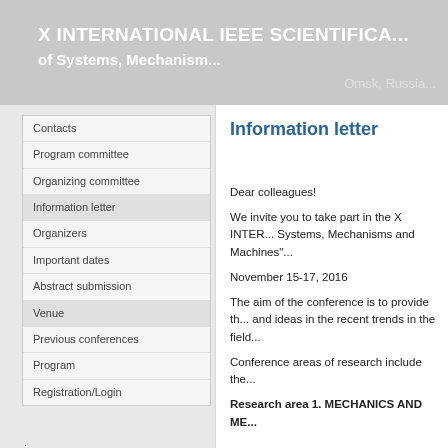X INTERNATIONAL IEEE SCIENTIFIC... of Systems, Mechanism... Omsk, Russia...
Contacts
Program committee
Organizing committee
Information letter
Organizers
Important dates
Abstract submission
Venue
Previous conferences
Program
Registration/Login
Information letter
Dear colleagues!
We invite you to take part in the X INTER... Systems, Mechanisms and Machines"...
November 15-17, 2016
The aim of the conference is to provide th... and ideas in the recent trends in the field...
Conference areas of research include the...
Research area 1. MECHANICS AND ME...